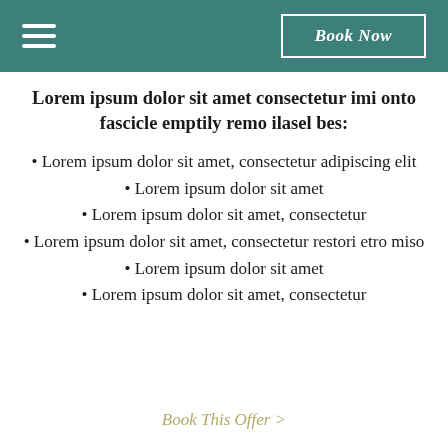Book Now
Lorem ipsum dolor sit amet consectetur imi onto fascicle emptily remo ilasel bes:
Lorem ipsum dolor sit amet, consectetur adipiscing elit
Lorem ipsum dolor sit amet
Lorem ipsum dolor sit amet, consectetur
Lorem ipsum dolor sit amet, consectetur restori etro miso
Lorem ipsum dolor sit amet
Lorem ipsum dolor sit amet, consectetur
Book This Offer >